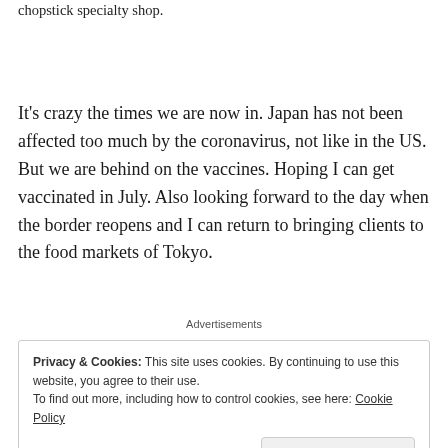chopstick specialty shop.
It's crazy the times we are now in. Japan has not been affected too much by the coronavirus, not like in the US. But we are behind on the vaccines. Hoping I can get vaccinated in July. Also looking forward to the day when the border reopens and I can return to bringing clients to the food markets of Tokyo.
Advertisements
Privacy & Cookies: This site uses cookies. By continuing to use this website, you agree to their use.
To find out more, including how to control cookies, see here: Cookie Policy

Close and accept